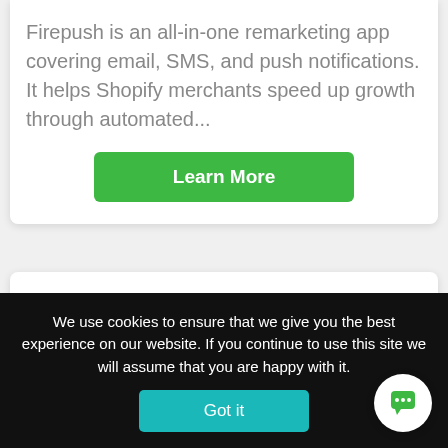Firepush is an all-in-one remarketing app covering email, SMS, and push notifications. It helps Shopify merchants speed up growth through automated...
Learn More
[Figure (logo): Tiny img logo with speedometer icon in orange/red gradient and text 'tiny img' in bold black]
We use cookies to ensure that we give you the best experience on our website. If you continue to use this site we will assume that you are happy with it.
Got it